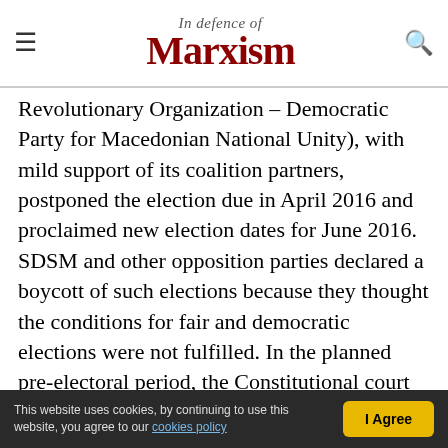In Defence of Marxism
Revolutionary Organization – Democratic Party for Macedonian National Unity), with mild support of its coalition partners, postponed the election due in April 2016 and proclaimed new election dates for June 2016. SDSM and other opposition parties declared a boycott of such elections because they thought the conditions for fair and democratic elections were not fulfilled. In the planned pre-electoral period, the Constitutional court intentionally decided to cancel an amendment from a certain law that restricts the Presidential power for amnesty as expected, giving the green light for the
This website uses cookies, by continuing to use this website, you agree to our cookies policy  I Agree